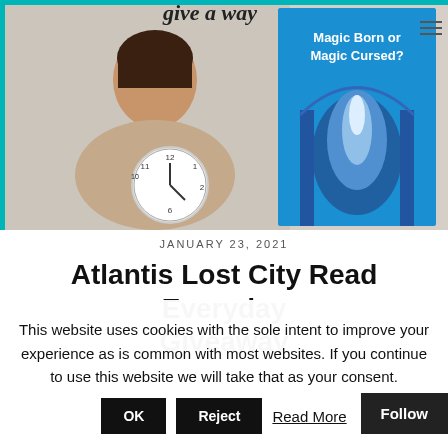[Figure (photo): Blog header image showing a smiling woman holding a clock on the left, and a book cover 'Magic Born or Magic Cursed?' with a blue fantasy archway on the right. Cursive blog logo text at top.]
JANUARY 23, 2021
Atlantis Lost City Read Everyday Giveaway
This website uses cookies with the sole intent to improve your experience as is common with most websites. If you continue to use this website we will take that as your consent.
OK
Reject
Read More
Follow